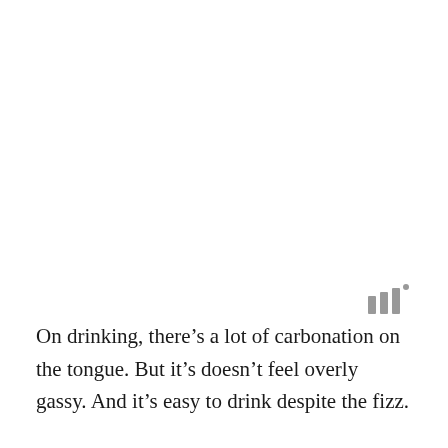[Figure (other): Three vertical bars of increasing height with a small dot, resembling an audio or signal strength icon, in gray]
On drinking, there’s a lot of carbonation on the tongue. But it’s doesn’t feel overly gassy. And it’s easy to drink despite the fizz.